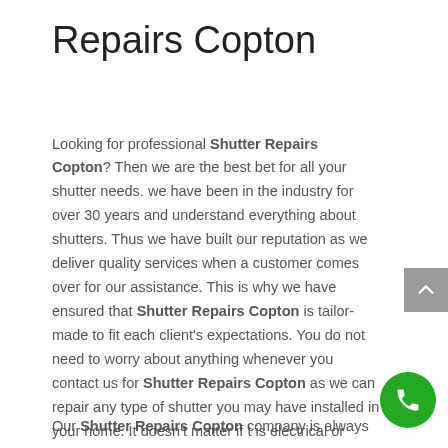Repairs Copton
Looking for professional Shutter Repairs Copton? Then we are the best bet for all your shutter needs. we have been in the industry for over 30 years and understand everything about shutters. Thus we have built our reputation as we deliver quality services when a customer comes over for our assistance. This is why we have ensured that Shutter Repairs Copton is tailor-made to fit each client's expectations. You do not need to worry about anything whenever you contact us for Shutter Repairs Copton as we can repair any type of shutter you may have installed in your home. It doesn't matter if t is electrical or mechanical as we are always available to help you out.
Our Shutter Repairs Copton company is always